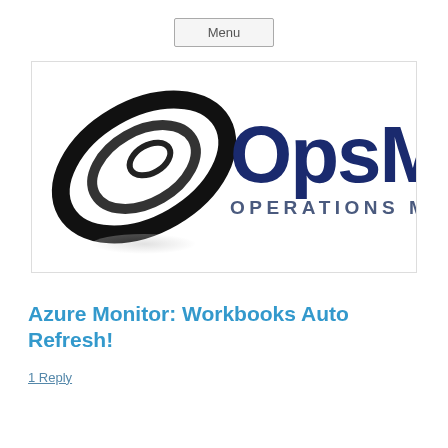Menu
[Figure (logo): OpsMan Operations Manager logo: black spiral/circle graphic on the left, dark navy bold text 'OpsMan' with 'OPERATIONS MANAGER' below in spaced capitals, on white background]
Azure Monitor: Workbooks Auto Refresh!
1 Reply